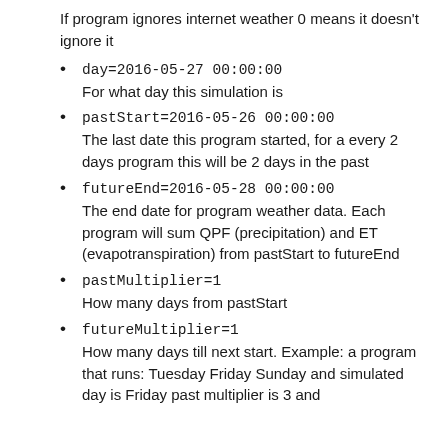If program ignores internet weather 0 means it doesn't ignore it
day=2016-05-27 00:00:00
For what day this simulation is
pastStart=2016-05-26 00:00:00
The last date this program started, for a every 2 days program this will be 2 days in the past
futureEnd=2016-05-28 00:00:00
The end date for program weather data. Each program will sum QPF (precipitation) and ET (evapotranspiration) from pastStart to futureEnd
pastMultiplier=1
How many days from pastStart
futureMultiplier=1
How many days till next start. Example: a program that runs: Tuesday Friday Sunday and simulated day is Friday past multiplier is 3 and